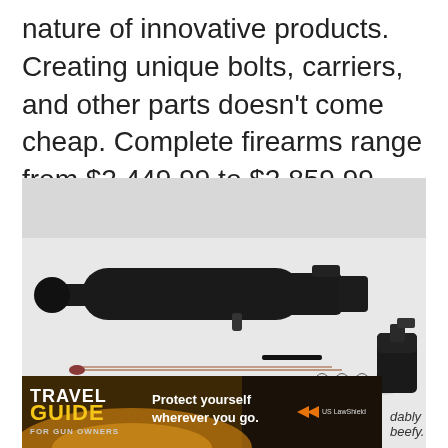nature of innovative products. Creating unique bolts, carriers, and other parts doesn't come cheap. Complete firearms range from $2,449.99 to $2,859.99. Uppers range from $1,699.99 to $2,089.99
[Figure (photo): Disassembled bolt carrier group components laid out on a light gray surface, including a black bolt carrier, firing pin, firing pin retaining pin, cam pin, and bolt.]
[Figure (photo): Travel Guide for Gun Owners advertisement banner: dark background with text 'Protect yourself wherever you go.' with US LawShield logo and orange arrow graphics.]
dably beefy.